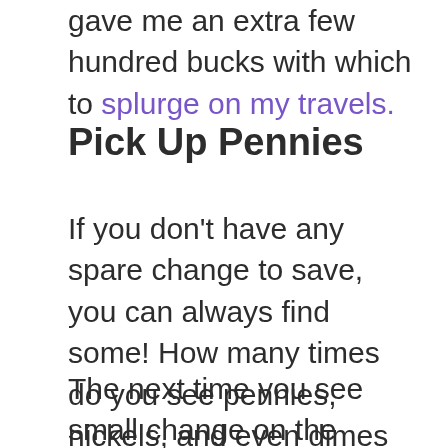gave me an extra few hundred bucks with which to splurge on my travels.
Pick Up Pennies
If you don’t have any spare change to save, you can always find some! How many times do you see pennies, nickels, and even dimes just chilling in the parking lot? Those coins are legal tender.
The next time you see small change on the ground, pick it up and add it to your stash. These little things add up, and you’ll have a few bucks saved before you